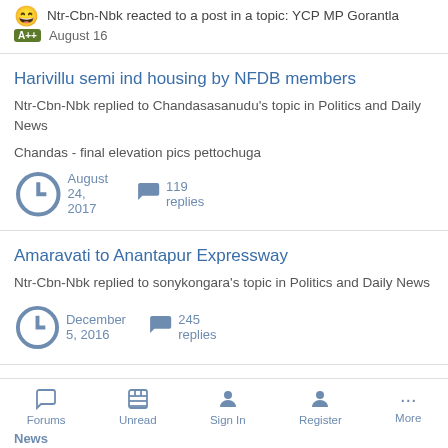Ntr-Cbn-Nbk reacted to a post in a topic: YCP MP Gorantla (A++) August 16
Harivillu semi ind housing by NFDB members
Ntr-Cbn-Nbk replied to Chandasasanudu's topic in Politics and Daily News
Chandas - final elevation pics pettochuga
August 24, 2017   119 replies
Amaravati to Anantapur Expressway
Ntr-Cbn-Nbk replied to sonykongara's topic in Politics and Daily News
December 5, 2016   245 replies
Forums  Unread  Sign In  Register  More